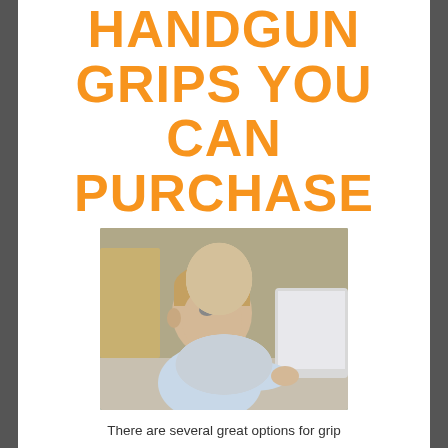HANDGUN GRIPS YOU CAN PURCHASE
[Figure (photo): A young boy looking at a laptop computer screen, sitting at a desk in a room]
There are several great options for grip